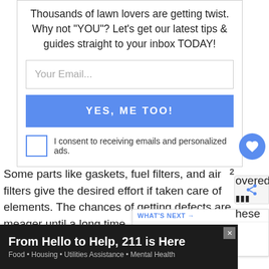Thousands of lawn lovers are getting twist. Why not "YOU"? Let's get our latest tips & guides straight to your inbox TODAY!
[Figure (infographic): Email signup form with text input field labelled 'Your Email...', a blue 'YES, ME TOO!' button, and a consent checkbox with text 'I consent to receiving emails and personalized ads.']
Some parts like gaskets, fuel filters, and air filters give the desired effort if taken care of elements. The chances of getting defects are meager until a long time.
[Figure (infographic): What's Next: How To Solve Husqvarna... - promotional widget with thumbnail image]
[Figure (infographic): Advertisement banner: From Hello to Help, 211 is Here. Food • Housing • Utilities Assistance • Mental Health]